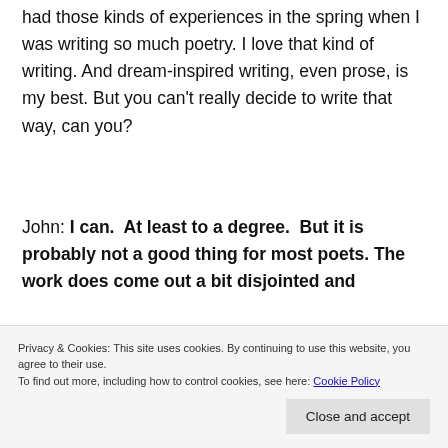had those kinds of experiences in the spring when I was writing so much poetry. I love that kind of writing. And dream-inspired writing, even prose, is my best. But you can't really decide to write that way, can you?
John: I can.  At least to a degree.  But it is probably not a good thing for most poets. The work does come out a bit disjointed and
of the exercise.
Privacy & Cookies: This site uses cookies. By continuing to use this website, you agree to their use.
To find out more, including how to control cookies, see here: Cookie Policy